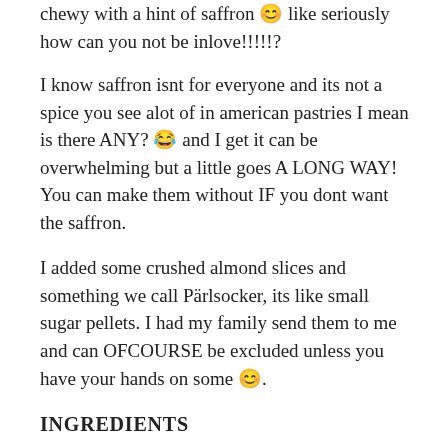chewy with a hint of saffron 😊 like seriously how can you not be inlove!!!!!?
I know saffron isnt for everyone and its not a spice you see alot of in american pastries I mean is there ANY? 😂 and I get it can be overwhelming but a little goes A LONG WAY! You can make them without IF you dont want the saffron.
I added some crushed almond slices and something we call Pärlsocker, its like small sugar pellets. I had my family send them to me and can OFCOURSE be excluded unless you have your hands on some 😊.
INGREDIENTS
1 stick butter, room temperature
0,5 cup granulated sugar
0,5 gram saffron